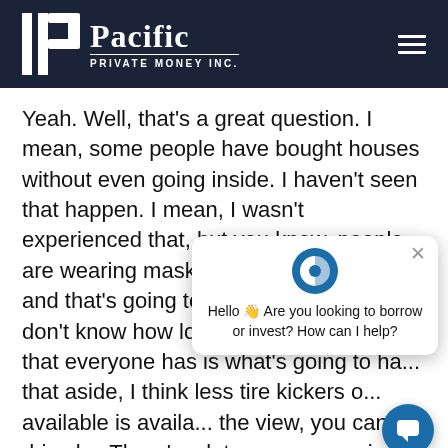Pacific Private Money Inc.
Yeah. Well, that's a great question. I mean, some people have bought houses without even going inside. I haven't seen that happen. I mean, I wasn't experienced that, but you know, people are wearing masks, gloves, and booties, and that's going to continue for a while. I don't know how long. The big question that everyone has is what's going to ha... that aside, I think less tire kickers o... available is availa... the view, you can drive by. There's a lot you can surmise from all that. Rarely do you get… I mean, a lot of times actually you do. Realtors tend to like the photos over promise and over deliver. But I think
[Figure (screenshot): Chat widget popup showing a logo icon and the message: Hello 👋 Are you looking to borrow or invest? How can I help? with a close button and a chat launcher button]